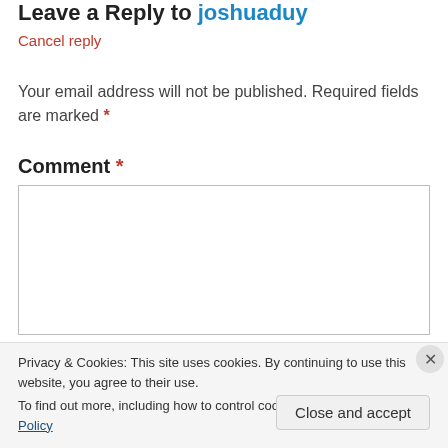Leave a Reply to joshuaduy
Cancel reply
Your email address will not be published. Required fields are marked *
Comment *
Privacy & Cookies: This site uses cookies. By continuing to use this website, you agree to their use.
To find out more, including how to control cookies, see here: Cookie Policy
Close and accept